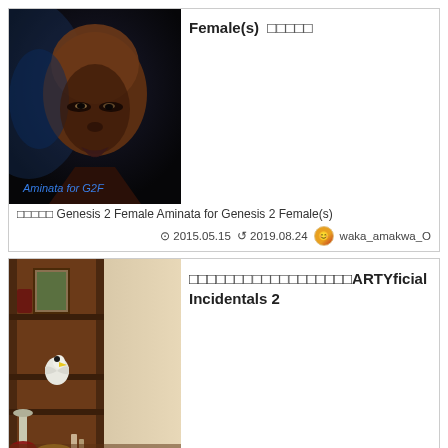[Figure (photo): 3D rendered portrait of a bald dark-skinned female character with blue ambient lighting. Text overlay reads 'Aminata for G2F' in blue cursive at bottom.]
Female(s) □□□□□
□□□□□ Genesis 2 Female Aminata for Genesis 2 Female(s)
⊙ 2015.05.15  ↺ 2019.08.24  waka_amakwa_O
[Figure (photo): 3D rendered interior scene showing a wooden bookshelf/cabinet with decorative items including a white seagull figurine, candle holder, and various small objects on a table.]
□□□□□□□□□□□□□□□□□□ARTYficial Incidentals 2